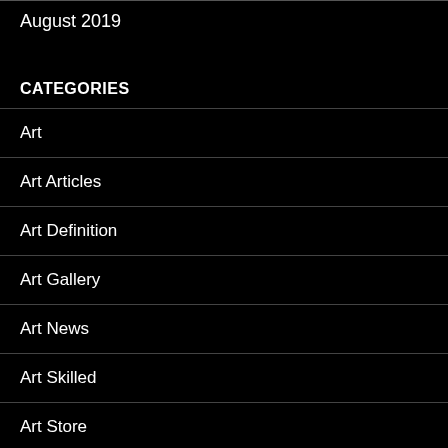August 2019
CATEGORIES
Art
Art Articles
Art Definition
Art Gallery
Art News
Art Skilled
Art Store
Artwork
Buy Masterpiece